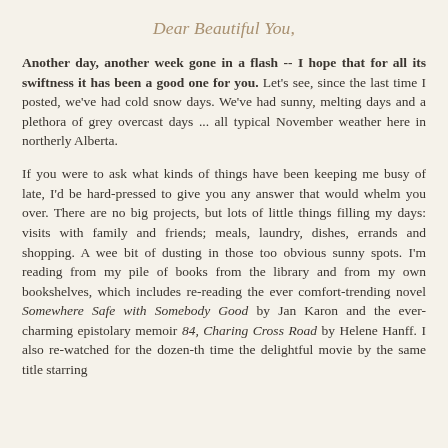Dear Beautiful You,
Another day, another week gone in a flash -- I hope that for all its swiftness it has been a good one for you. Let's see, since the last time I posted, we've had cold snow days. We've had sunny, melting days and a plethora of grey overcast days ... all typical November weather here in northerly Alberta.
If you were to ask what kinds of things have been keeping me busy of late, I'd be hard-pressed to give you any answer that would whelm you over. There are no big projects, but lots of little things filling my days: visits with family and friends; meals, laundry, dishes, errands and shopping. A wee bit of dusting in those too obvious sunny spots. I'm reading from my pile of books from the library and from my own bookshelves, which includes re-reading the ever comfort-trending novel Somewhere Safe with Somebody Good by Jan Karon and the ever-charming epistolary memoir 84, Charing Cross Road by Helene Hanff. I also re-watched for the dozen-th time the delightful movie by the same title starring